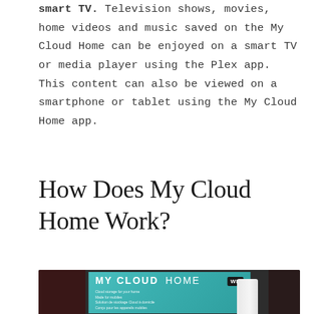smart TV. Television shows, movies, home videos and music saved on the My Cloud Home can be enjoyed on a smart TV or media player using the Plex app. This content can also be viewed on a smartphone or tablet using the My Cloud Home app.
How Does My Cloud Home Work?
[Figure (photo): Photo of a WD My Cloud Home product box, teal/turquoise packaging with white device visible, on a dark background with out-of-focus objects.]